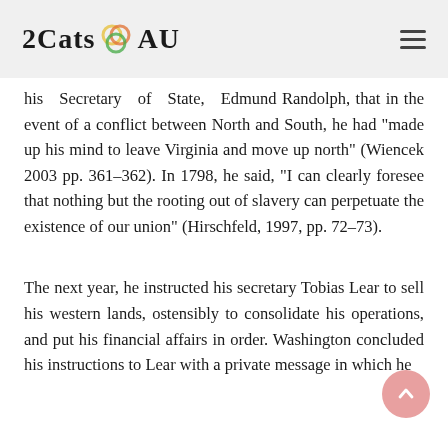2Cats AU
his Secretary of State, Edmund Randolph, that in the event of a conflict between North and South, he had "made up his mind to leave Virginia and move up north" (Wiencek 2003 pp. 361–362). In 1798, he said, "I can clearly foresee that nothing but the rooting out of slavery can perpetuate the existence of our union" (Hirschfeld, 1997, pp. 72–73).
The next year, he instructed his secretary Tobias Lear to sell his western lands, ostensibly to consolidate his operations, and put his financial affairs in order. Washington concluded his instructions to Lear with a private message in which he